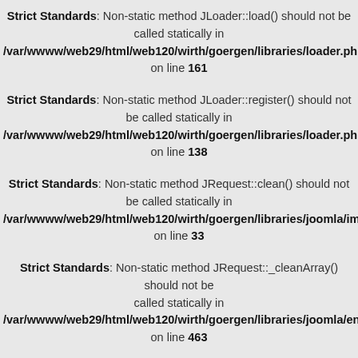Strict Standards: Non-static method JLoader::load() should not be called statically in /var/wwww/web29/html/web120/wirth/goergen/libraries/loader.php on line 161
Strict Standards: Non-static method JLoader::register() should not be called statically in /var/wwww/web29/html/web120/wirth/goergen/libraries/loader.php on line 138
Strict Standards: Non-static method JRequest::clean() should not be called statically in /var/wwww/web29/html/web120/wirth/goergen/libraries/joomla/import.php on line 33
Strict Standards: Non-static method JRequest::_cleanArray() should not be called statically in /var/wwww/web29/html/web120/wirth/goergen/libraries/joomla/environment on line 463
Strict Standards: Non-static method JRequest::_cleanArray() should not be called statically in